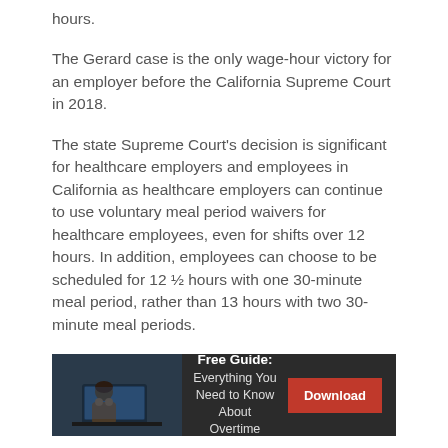hours.
The Gerard case is the only wage-hour victory for an employer before the California Supreme Court in 2018.
The state Supreme Court’s decision is significant for healthcare employers and employees in California as healthcare employers can continue to use voluntary meal period waivers for healthcare employees, even for shifts over 12 hours. In addition, employees can choose to be scheduled for 12 ½ hours with one 30-minute meal period, rather than 13 hours with two 30-minute meal periods.
[Figure (infographic): Advertisement banner with dark background showing a person at a desk, text 'Free Guide: Everything You Need to Know About Overtime' and a red Download button.]
Requirements for Meal Breaks in California